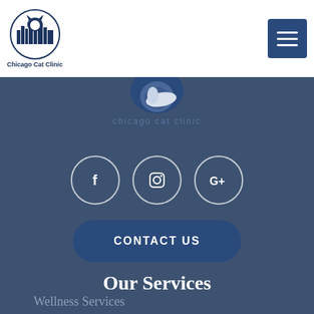[Figure (logo): Chicago Cat Clinic logo — circular badge with cat and city skyline silhouette in navy blue]
[Figure (illustration): Hamburger menu button (three horizontal lines) in a navy blue square, top-right corner]
[Figure (logo): Partial Chicago Cat Clinic logo and watermark text on dark blue-grey background]
[Figure (infographic): Three circular social media icon buttons (Facebook f, Instagram camera, Google+) with white outlines on dark background]
[Figure (illustration): CONTACT US button — rounded rectangle in dark navy blue]
Our Services
Wellness Services
Vaccinations